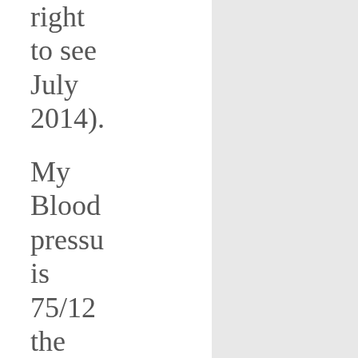right to see July 2014).
My Blood pressure is 75/123 the expected normal for 25 year old